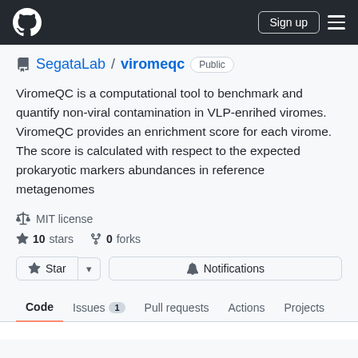GitHub header with logo, Sign up button, and hamburger menu
SegataLab / viromeqc  Public
ViromeQC is a computational tool to benchmark and quantify non-viral contamination in VLP-enrihed viromes. ViromeQC provides an enrichment score for each virome. The score is calculated with respect to the expected prokaryotic markers abundances in reference metagenomes
MIT license
10 stars   0 forks
Star  Notifications
Code  Issues 1  Pull requests  Actions  Projects